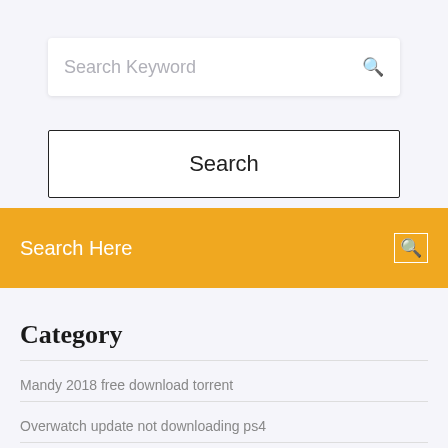[Figure (screenshot): Search input box with placeholder text 'Search Keyword' and a search icon on the right]
[Figure (screenshot): Search button with border and text 'Search']
[Figure (screenshot): Orange bar with 'Search Here' text on left and search icon on right]
Category
Mandy 2018 free download torrent
Overwatch update not downloading ps4